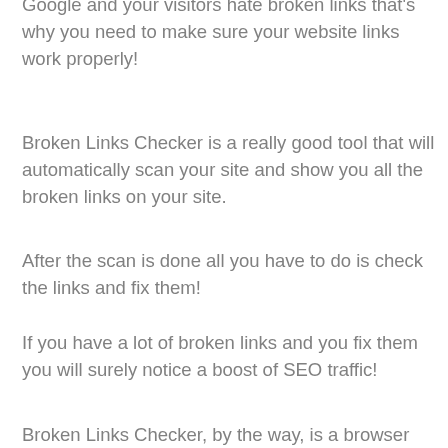Google and your visitors hate broken links that's why you need to make sure your website links work properly!
Broken Links Checker is a really good tool that will automatically scan your site and show you all the broken links on your site.
After the scan is done all you have to do is check the links and fix them!
If you have a lot of broken links and you fix them you will surely notice a boost of SEO traffic!
Broken Links Checker, by the way, is a browser